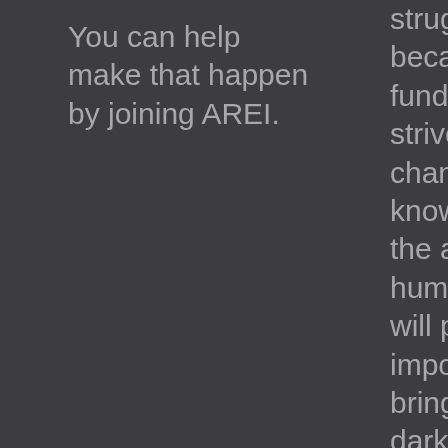You can help make that happen by joining AREI.
struggling because of lack of funding as they strive to bring life-changing knowledge about the afterlife to humankind. You will play an important role in bringing light to a darkened